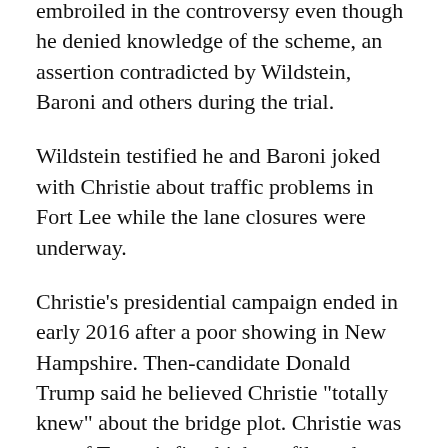embroiled in the controversy even though he denied knowledge of the scheme, an assertion contradicted by Wildstein, Baroni and others during the trial.
Wildstein testified he and Baroni joked with Christie about traffic problems in Fort Lee while the lane closures were underway.
Christie's presidential campaign ended in early 2016 after a poor showing in New Hampshire. Then-candidate Donald Trump said he believed Christie "totally knew" about the bridge plot. Christie was one of Trump's first high-profile endorsers in 2016, but later admitted the scandal was a factor in Trump not choosing him as his running mate.
The case also damaged the reputation of the Port Authority of New York and New Jersey, the bi-state